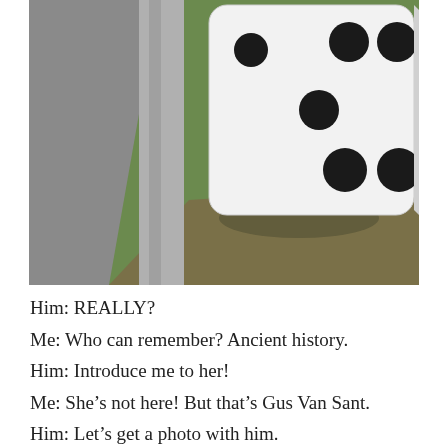[Figure (photo): A large white oversized novelty dice/die sitting on a grass patch near a sidewalk curb. The visible face shows five black dots arranged in a standard five pattern. Photographed from above at an angle.]
Him: REALLY?
Me: Who can remember? Ancient history.
Him: Introduce me to her!
Me: She’s not here! But that’s Gus Van Sant.
Him: Let’s get a photo with him.
Me: He’s joining… The three of us… He’s inviting…